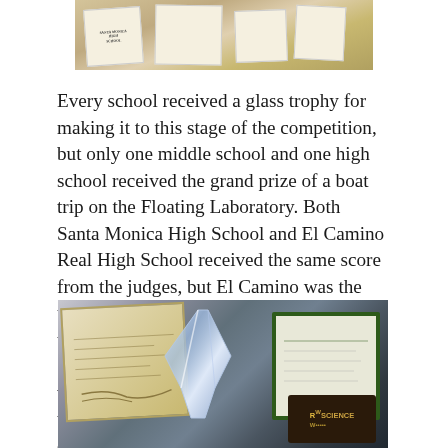[Figure (photo): Photo of papers/cards laid out on a table, including one labeled Santa Monica High School]
Every school received a glass trophy for making it to this stage of the competition, but only one middle school and one high school received the grand prize of a boat trip on the Floating Laboratory. Both Santa Monica High School and El Camino Real High School received the same score from the judges, but El Camino was the ultimate winner. Team Marine would like to congratulate El Camino Real High School for the success of their grand-prize winning project. We would also like to thank Generation Earth for putting on the competition and choosing us as finalists.
[Figure (photo): Photo of glass trophy award alongside framed certificates and a plaque with science branding]